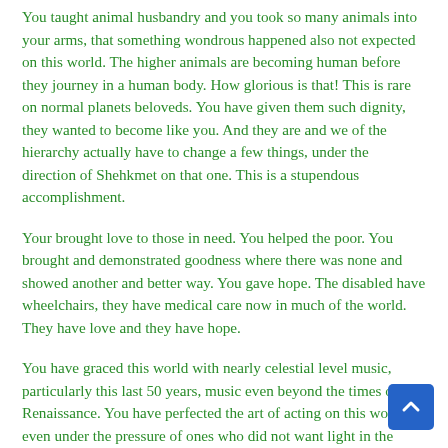You taught animal husbandry and you took so many animals into your arms, that something wondrous happened also not expected on this world. The higher animals are becoming human before they journey in a human body. How glorious is that! This is rare on normal planets beloveds. You have given them such dignity, they wanted to become like you. And they are and we of the hierarchy actually have to change a few things, under the direction of Shehkmet on that one. This is a stupendous accomplishment.
Your brought love to those in need. You helped the poor. You brought and demonstrated goodness where there was none and showed another and better way. You gave hope. The disabled have wheelchairs, they have medical care now in much of the world. They have love and they have hope.
You have graced this world with nearly celestial level music, particularly this last 50 years, music even beyond the times of the Renaissance. You have perfected the art of acting on this world, even under the pressure of ones who did not want light in the films. You demonstrated through film proper